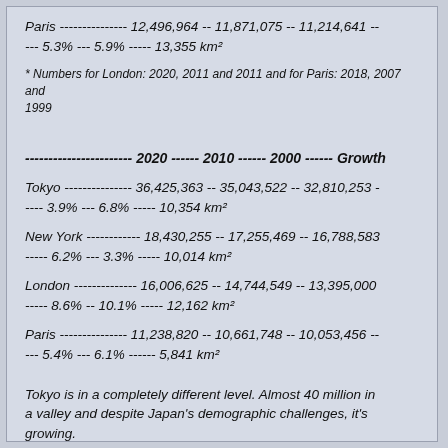Paris --------------- 12,496,964 -- 11,871,075 -- 11,214,641 -- --- 5.3% --- 5.9% ----- 13,355 km²
* Numbers for London: 2020, 2011 and 2011 and for Paris: 2018, 2007 and 1999
----------------------- 2020 ------ 2010 ------ 2000 ------ Growth
Tokyo --------------- 36,425,363 -- 35,043,522 -- 32,810,253 ----- 3.9% --- 6.8% ----- 10,354 km²
New York ------------ 18,430,255 -- 17,255,469 -- 16,788,583 ----- 6.2% --- 3.3% ----- 10,014 km²
London -------------- 16,006,625 -- 14,744,549 -- 13,395,000 ----- 8.6% -- 10.1% ----- 12,162 km²
Paris --------------- 11,238,820 -- 10,661,748 -- 10,053,456 ---- 5.4% --- 6.1% ------ 5,841 km²
Tokyo is in a completely different level. Almost 40 million in a valley and despite Japan's demographic challenges, it's growing.
And now their core:
----------------------- 2020 ------ 2010 ------ 2000 ------ Growth